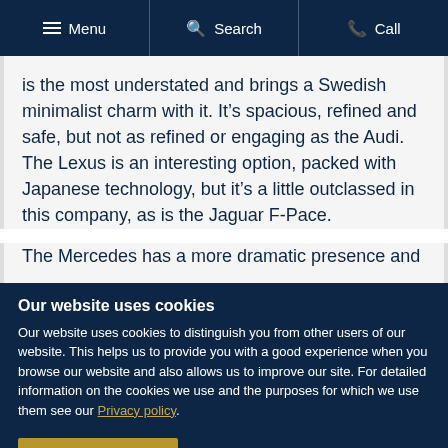Menu | Search | Call
is the most understated and brings a Swedish minimalist charm with it. It’s spacious, refined and safe, but not as refined or engaging as the Audi. The Lexus is an interesting option, packed with Japanese technology, but it’s a little outclassed in this company, as is the Jaguar F-Pace.
The Mercedes has a more dramatic presence and
Our website uses cookies
Our website uses cookies to distinguish you from other users of our website. This helps us to provide you with a good experience when you browse our website and also allows us to improve our site. For detailed information on the cookies we use and the purposes for which we use them see our Privacy policy.